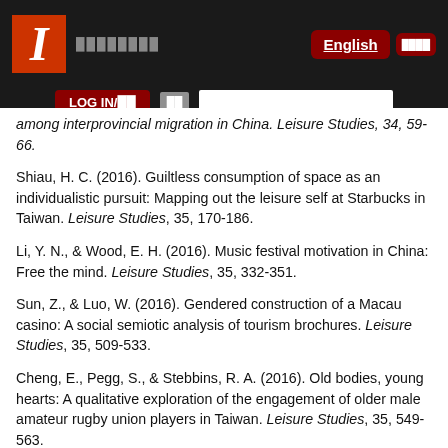University of Illinois header with LOG IN button, English language toggle, search bar
among interprovincial migration in China. Leisure Studies, 34, 59-66.
Shiau, H. C. (2016). Guiltless consumption of space as an individualistic pursuit: Mapping out the leisure self at Starbucks in Taiwan. Leisure Studies, 35, 170-186.
Li, Y. N., & Wood, E. H. (2016). Music festival motivation in China: Free the mind. Leisure Studies, 35, 332-351.
Sun, Z., & Luo, W. (2016). Gendered construction of a Macau casino: A social semiotic analysis of tourism brochures. Leisure Studies, 35, 509-533.
Cheng, E., Pegg, S., & Stebbins, R. A. (2016). Old bodies, young hearts: A qualitative exploration of the engagement of older male amateur rugby union players in Taiwan. Leisure Studies, 35, 549-563.
Ma, S. C., & Rotherham, I. D. (2016). Residents'